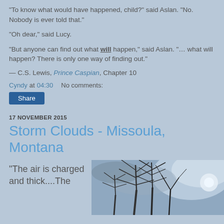"To know what would have happened, child?" said Aslan. "No. Nobody is ever told that."
"Oh dear," said Lucy.
"But anyone can find out what will happen," said Aslan. "… what will happen? There is only one way of finding out."
— C.S. Lewis, Prince Caspian, Chapter 10
Cyndy at 04:30    No comments:
Share
17 NOVEMBER 2015
Storm Clouds - Missoula, Montana
"The air is charged and thick....The
[Figure (photo): Photo of bare winter trees against a cloudy sky]